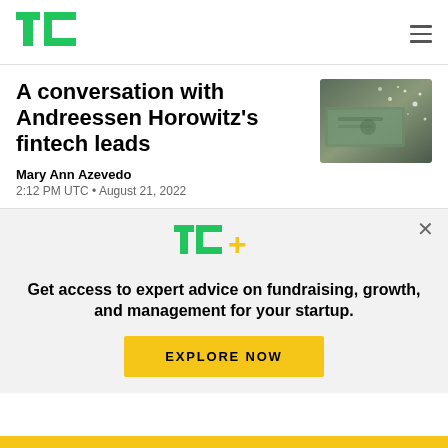TechCrunch logo and navigation
A conversation with Andreessen Horowitz's fintech leads
Mary Ann Azevedo
2:12 PM UTC • August 21, 2022
[Figure (photo): Image of dollar bills with sparkle effect suggesting fintech/money theme]
Get access to expert advice on fundraising, growth, and management for your startup.
EXPLORE NOW